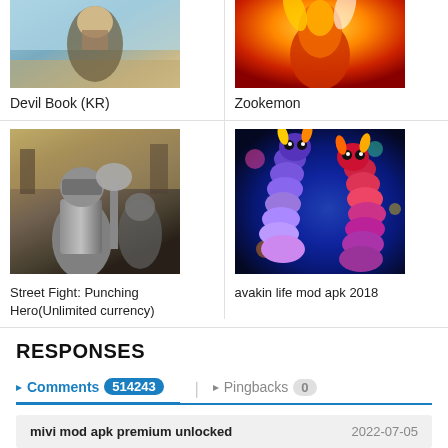[Figure (photo): Cropped top of Devil Book (KR) game thumbnail - anime/cartoon style character]
Devil Book (KR)
[Figure (photo): Cropped top of Zookemon game thumbnail - fire/phoenix creature on orange background]
Zookemon
[Figure (photo): Street Fight: Punching Hero game thumbnail - armored knight warrior in dark fantasy setting]
Street Fight: Punching Hero(Unlimited currency)
[Figure (photo): avakin life mod apk 2018 game thumbnail - colorful cartoon snake/worm creatures on dark background]
avakin life mod apk 2018
RESPONSES
Comments 514243   Pingbacks 0
mivi mod apk premium unlocked   2022-07-05